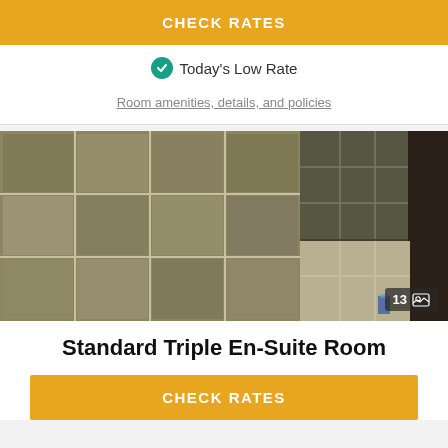CHECK RATES
Today's Low Rate
Room amenities, details, and policies
[Figure (photo): Bathroom shower wall with large marble-style tiles in grey-brown tones, showing corner of shower with a dark mirror/glass panel on the right side. A photo count badge showing '13' with a gallery icon is overlaid at bottom right.]
Standard Triple En-Suite Room
CHECK RATES